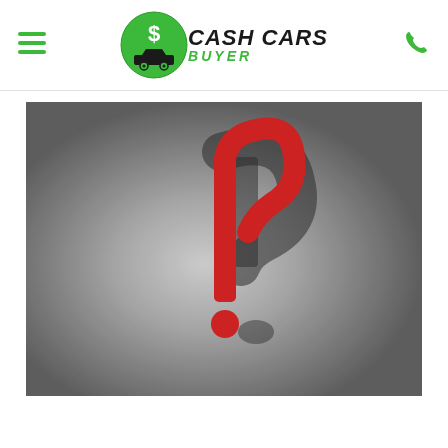[Figure (logo): Cash Cars Buyer logo with green circle containing a dollar sign and car silhouette, with hamburger menu icon on left and phone icon on right]
[Figure (photo): A red 3D question mark resting on a gray concrete surface, casting a dramatic shadow to the right. The question mark is made of a vertical red bar and a rounded hook, with a red dot at the bottom.]